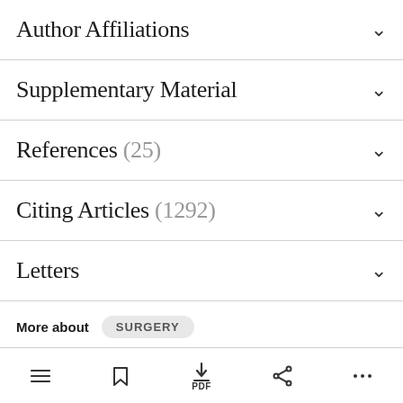Author Affiliations
Supplementary Material
References (25)
Citing Articles (1292)
Letters
More about SURGERY
navigation bar with list, bookmark, PDF, share, more icons